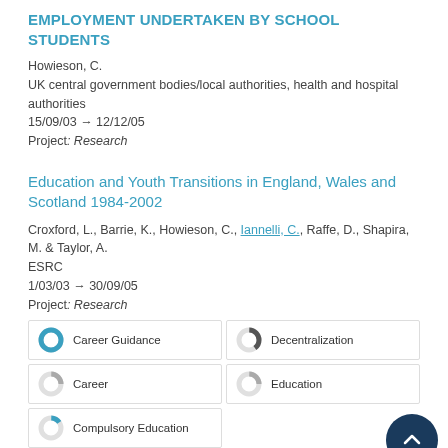EMPLOYMENT UNDERTAKEN BY SCHOOL STUDENTS
Howieson, C.
UK central government bodies/local authorities, health and hospital authorities
15/09/03 → 12/12/05
Project: Research
Education and Youth Transitions in England, Wales and Scotland 1984-2002
Croxford, L., Barrie, K., Howieson, C., Iannelli, C., Raffe, D., Shapira, M. & Taylor, A.
ESRC
1/03/03 → 30/09/05
Project: Research
[Figure (infographic): Tag/keyword donut chart items: Career Guidance (100%), Decentralization (~40%), Career (~25%), Education (~25%), Compulsory Education (~15%)]